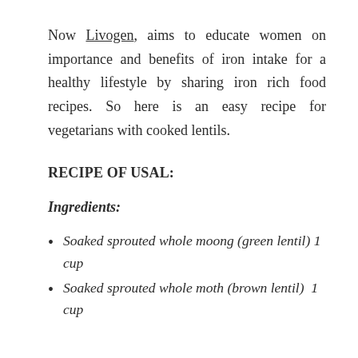Now Livogen, aims to educate women on importance and benefits of iron intake for a healthy lifestyle by sharing iron rich food recipes. So here is an easy recipe for vegetarians with cooked lentils.
RECIPE OF USAL:
Ingredients:
Soaked sprouted whole moong (green lentil) 1 cup
Soaked sprouted whole moth (brown lentil)  1 cup